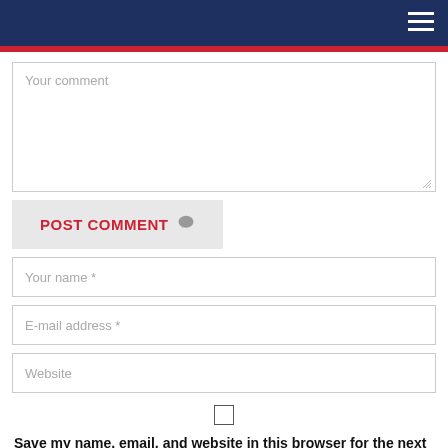[Figure (screenshot): Website navigation header bar with dark navy background, red bottom border, and hamburger menu icon in top right corner]
Your comment
POST COMMENT
Your name *
E-mail address *
Website
Save my name, email, and website in this browser for the next time I comment.